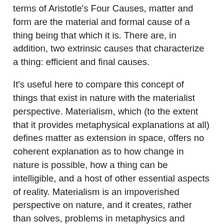terms of Aristotle's Four Causes, matter and form are the material and formal cause of a thing being that which it is. There are, in addition, two extrinsic causes that characterize a thing: efficient and final causes.
It's useful here to compare this concept of things that exist in nature with the materialist perspective. Materialism, which (to the extent that it provides metaphysical explanations at all) defines matter as extension in space, offers no coherent explanation as to how change in nature is possible, how a thing can be intelligible, and a host of other essential aspects of reality. Materialism is an impoverished perspective on nature, and it creates, rather than solves, problems in metaphysics and science.